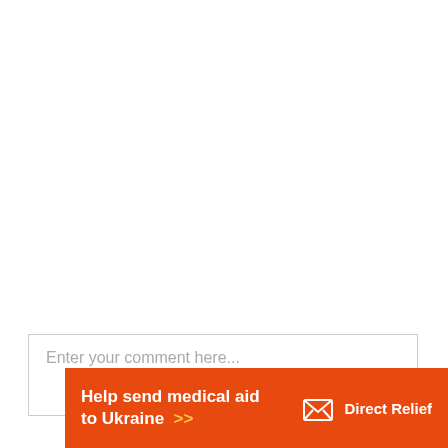Reply
Leave a Reply
Enter your comment here...
[Figure (infographic): Orange advertisement banner for Direct Relief: 'Help send medical aid to Ukraine >>' with Direct Relief logo on the right]